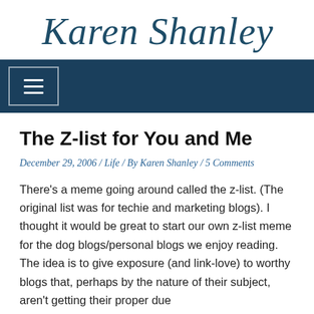Karen Shanley
The Z-list for You and Me
December 29, 2006 / Life / By Karen Shanley / 5 Comments
There's a meme going around called the z-list. (The original list was for techie and marketing blogs). I thought it would be great to start our own z-list meme for the dog blogs/personal blogs we enjoy reading. The idea is to give exposure (and link-love) to worthy blogs that, perhaps by the nature of their subject, aren't getting their proper due